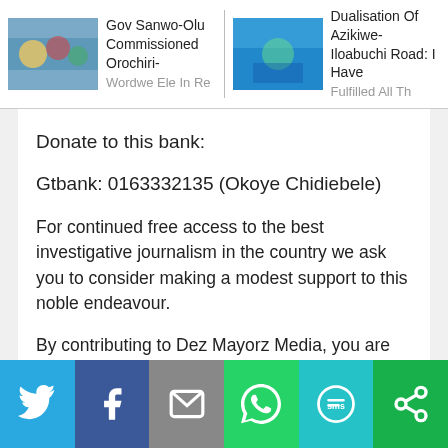Gov Sanwo-Olu Commissioned Orochiri-Wor... | Dualisation Of Azikiwe-Iloabuchi Road: I Have Fulfilled All Th...
Donate to this bank:
Gtbank: 0163332135 (Okoye Chidiebele)
For continued free access to the best investigative journalism in the country we ask you to consider making a modest support to this noble endeavour.
By contributing to Dez Mayorz Media, you are helping to sustain a journalism of relevance and ensuring it remains free and available to all.
Twitter | Facebook | Email | WhatsApp | SMS | More